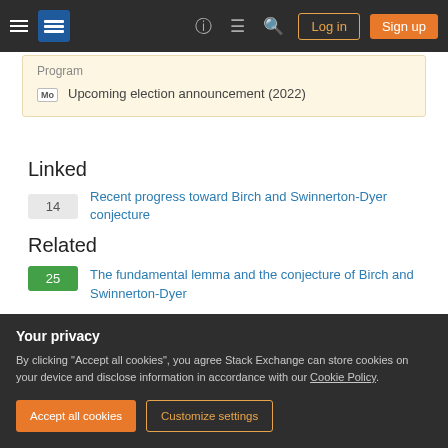Stack Exchange navigation bar with hamburger menu, logo, help, chat, search icons, Log in and Sign up buttons
Upcoming election announcement (2022)
Linked
14 — Recent progress toward Birch and Swinnerton-Dyer conjecture
Related
25 — The fundamental lemma and the conjecture of Birch and Swinnerton-Dyer
Your privacy
By clicking "Accept all cookies", you agree Stack Exchange can store cookies on your device and disclose information in accordance with our Cookie Policy.
Accept all cookies   Customize settings